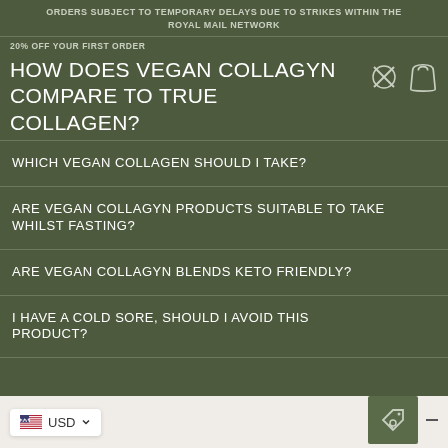ORDERS SUBJECT TO TEMPORARY DELAYS DUE TO STRIKES WITHIN THE ROYAL MAIL NETWORK
20% OFF YOUR FIRST ORDER
HOW DOES VEGAN COLLAGYN COMPARE TO TRUE COLLAGEN?
WHICH VEGAN COLLAGEN SHOULD I TAKE?
ARE VEGAN COLLAGYN PRODUCTS SUITABLE TO TAKE WHILST FASTING?
ARE VEGAN COLLAGYN BLENDS KETO FRIENDLY?
I HAVE A COLD SORE, SHOULD I AVOID THIS PRODUCT?
USD